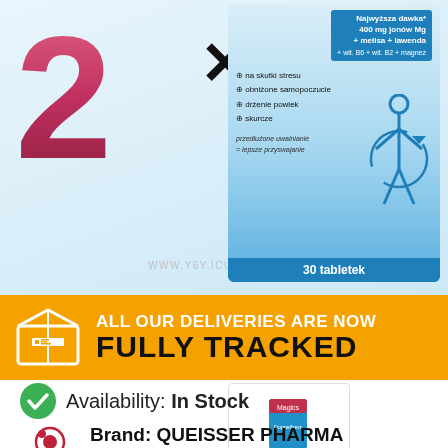[Figure (photo): Product promotional banner showing a large pink/red '2' numeral with a black 'X' mark beside it, and a blue supplement product box (30 tablets) with Polish text listing benefits: na skutki stresu, obniżone samopoczucie, drżenie powiek, skurcze. Header shows 'Najwyższa dawka 400 mg jonów Mg + melisa + lawenda'. Watermark www.y6y.icu at bottom.]
[Figure (infographic): Orange banner with package/barcode icon and text: 'ALL OUR DELIVERIES ARE NOW FULLY TRACKED']
[Figure (photo): Small product thumbnail showing Doppelherz Magics supplement box with tablets, inside a white bordered box.]
Availability: In Stock
Brand: QUEISSER PHARMA
View all products
$15.99
1